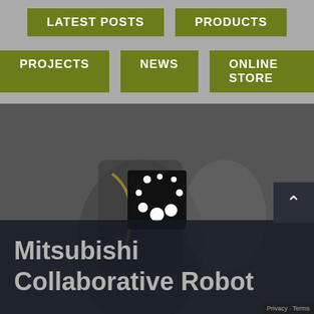LATEST POSTS
PRODUCTS
PROJECTS
NEWS
ONLINE STORE
[Figure (logo): ASC logo with dot pattern in olive/dark colors]
[Figure (photo): Dark hero image showing a robotic arm (Mitsubishi Collaborative Robot) with a loading spinner overlay]
Mitsubishi Collaborative Robot
Privacy · Terms